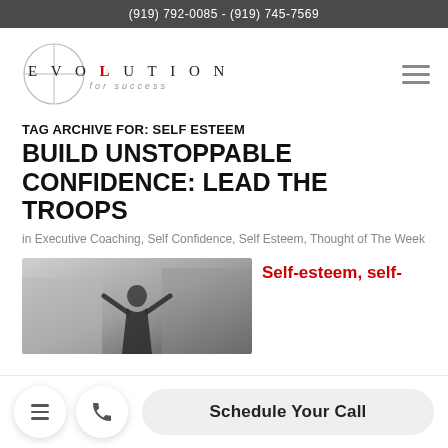(919) 792-0085 - (919) 745-7569
[Figure (logo): Evolution for Success logo with circle/crosshair graphic]
TAG ARCHIVE FOR: SELF ESTEEM
BUILD UNSTOPPABLE CONFIDENCE: LEAD THE TROOPS
in Executive Coaching, Self Confidence, Self Esteem, Thought of The Week
[Figure (photo): Person with arms raised outdoors, urban background]
Self-esteem, self-
Schedule Your Call